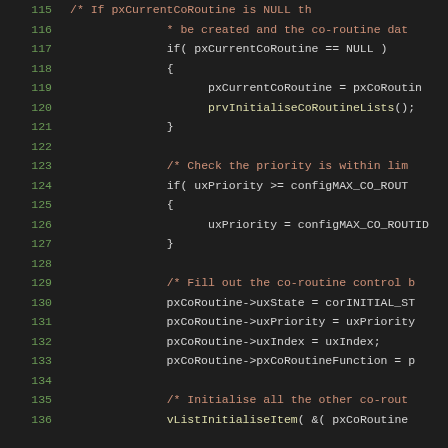[Figure (screenshot): Source code listing lines 115-136 showing C code for co-routine initialization, with line numbers in green on left and code in monospace font on dark background. Comments in orange/red, code in white/light colors.]